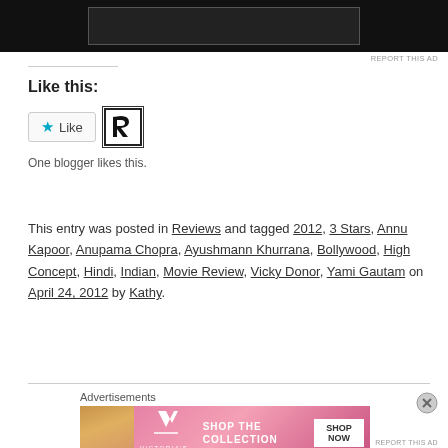[Figure (other): Top advertisement banner with dark background and inner bordered rectangle]
Like this:
[Figure (other): Like button with teal star and blogger avatar icon. One blogger likes this.]
One blogger likes this.
This entry was posted in Reviews and tagged 2012, 3 Stars, Annu Kapoor, Anupama Chopra, Ayushmann Khurrana, Bollywood, High Concept, Hindi, Indian, Movie Review, Vicky Donor, Yami Gautam on April 24, 2012 by Kathy.
Advertisements
[Figure (other): Victoria's Secret advertisement banner: SHOP THE COLLECTION, SHOP NOW]